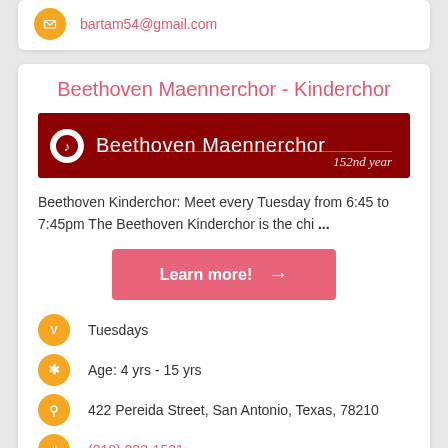bartam54@gmail.com
Beethoven Maennerchor - Kinderchor
[Figure (logo): Dark red banner with Beethoven Maennerchor logo and text '152nd year']
Beethoven Kinderchor: Meet every Tuesday from 6:45 to 7:45pm The Beethoven Kinderchor is the chi ...
Learn more!
Tuesdays
Age: 4 yrs - 15 yrs
422 Pereida Street, San Antonio, Texas, 78210
(210) 222-1521
contact@beethovenmaennerchor.com